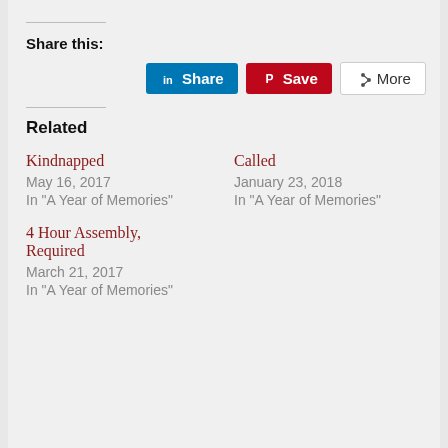Share this:
[Figure (screenshot): Social sharing buttons: LinkedIn Share (blue), Pinterest Save (red), More (outlined)]
Related
Kindnapped
May 16, 2017
In "A Year of Memories"
Called
January 23, 2018
In "A Year of Memories"
4 Hour Assembly, Required
March 21, 2017
In "A Year of Memories"